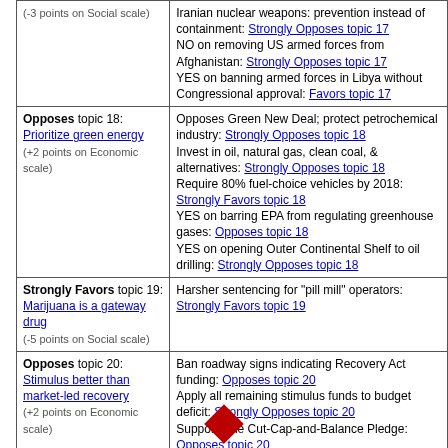| Position | Evidence |
| --- | --- |
| (-3 points on Social scale) | Iranian nuclear weapons: prevention instead of containment: Strongly Opposes topic 17
NO on removing US armed forces from Afghanistan: Strongly Opposes topic 17
YES on banning armed forces in Libya without Congressional approval: Favors topic 17 |
| Opposes topic 18:
Prioritize green energy
(+2 points on Economic scale) | Opposes Green New Deal; protect petrochemical industry: Strongly Opposes topic 18
Invest in oil, natural gas, clean coal, & alternatives: Strongly Opposes topic 18
Require 80% fuel-choice vehicles by 2018: Strongly Favors topic 18
YES on barring EPA from regulating greenhouse gases: Opposes topic 18
YES on opening Outer Continental Shelf to oil drilling: Strongly Opposes topic 18 |
| Strongly Favors topic 19:
Marijuana is a gateway drug
(-5 points on Social scale) | Harsher sentencing for "pill mill" operators: Strongly Favors topic 19 |
| Opposes topic 20:
Stimulus better than market-led recovery
(+2 points on Economic scale) | Ban roadway signs indicating Recovery Act funding: Opposes topic 20
Apply all remaining stimulus funds to budget deficit: Strongly Opposes topic 20
Supports the Cut-Cap-and-Balance Pledge: Opposes topic 20
Expand lending caps for credit unions to small business: Favors topic 20 |
[Figure (illustration): Red diamond/arrow shape at bottom center of page]